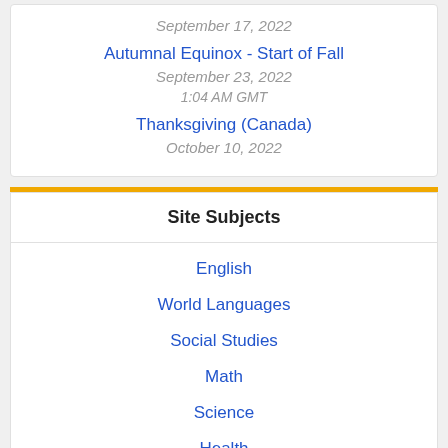September 17, 2022
Autumnal Equinox - Start of Fall
September 23, 2022
1:04 AM GMT
Thanksgiving (Canada)
October 10, 2022
Site Subjects
English
World Languages
Social Studies
Math
Science
Health
Arts & Crafts